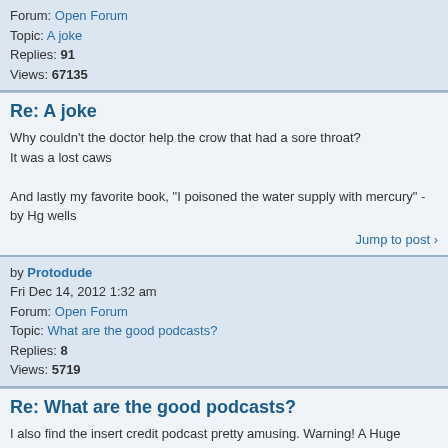Forum: Open Forum
Topic: A joke
Replies: 91
Views: 67135
Re: A joke
Why couldn't the doctor help the crow that had a sore throat?
It was a lost caws

And lastly my favorite book, "I poisoned the water supply with mercury" - by Hg wells
Jump to post
by Protodude
Fri Dec 14, 2012 1:32 am
Forum: Open Forum
Topic: What are the good podcasts?
Replies: 8
Views: 5719
Re: What are the good podcasts?
I also find the insert credit podcast pretty amusing. Warning! A Huge Podcast exclusively focuses on Japanese games and is hosted by some ex-GameFan/Play guys. They haven't updated in a while though. The selectbutton.net podcast is probably one of my favorites, they just get people from the forums w...
Jump to post
by Protodude
Fri Dec 14, 2012 12:58 am